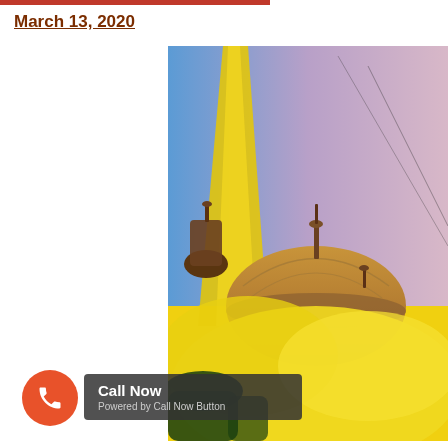March 13, 2020
[Figure (photo): Photo of a temple or mosque dome with yellow/orange colored powder smoke (Holi festival) against a blue and pink sky]
Call Now
Powered by Call Now Button